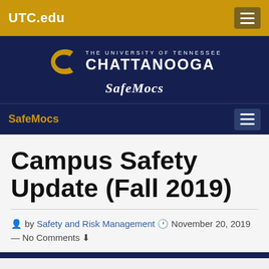UTC.edu
[Figure (logo): University of Tennessee Chattanooga logo with gold C emblem and SafeMocs wordmark on dark blue background]
SafeMocs
Campus Safety Update (Fall 2019)
by Safety and Risk Management  November 20, 2019 — No Comments